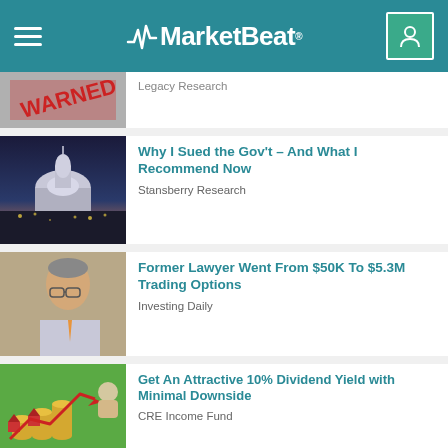MarketBeat
[Figure (photo): Partial view of a news thumbnail - appears to show a warning/stamp image with red text]
Legacy Research
[Figure (photo): US Capitol building at night with city lights]
Why I Sued the Gov't – And What I Recommend Now
Stansberry Research
[Figure (photo): Middle-aged man in glasses and business attire speaking]
Former Lawyer Went From $50K To $5.3M Trading Options
Investing Daily
[Figure (photo): Hands holding coins with small house figures and red upward arrow chart on green background]
Get An Attractive 10% Dividend Yield with Minimal Downside
CRE Income Fund